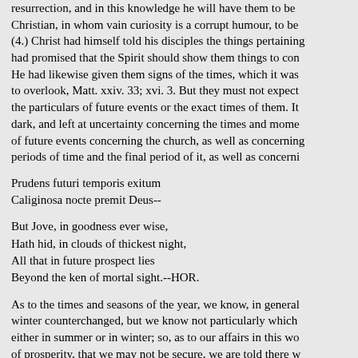resurrection, and in this knowledge he will have them to be Christian, in whom vain curiosity is a corrupt humour, to be (4.) Christ had himself told his disciples the things pertaining had promised that the Spirit should show them things to con He had likewise given them signs of the times, which it was to overlook, Matt. xxiv. 33; xvi. 3. But they must not expect the particulars of future events or the exact times of them. It dark, and left at uncertainty concerning the times and mome of future events concerning the church, as well as concerning periods of time and the final period of it, as well as concerni
Prudens futuri temporis exitum
Caliginosa nocte premit Deus--
But Jove, in goodness ever wise,
Hath hid, in clouds of thickest night,
All that in future prospect lies
Beyond the ken of mortal sight.--HOR.
As to the times and seasons of the year, we know, in general winter counterchanged, but we know not particularly which either in summer or in winter; so, as to our affairs in this wo of prosperity, that we may not be secure, we are told there w trouble; and in that winter, that we may not despond and des summer will return; but what this or that particular day will must accommodate ourselves to it, whatever it is, and make